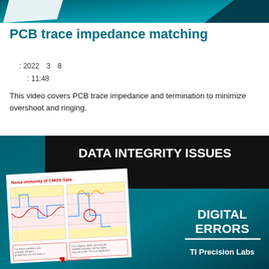[Figure (illustration): Top banner with teal/dark gradient and white paper corner element]
PCB trace impedance matching
: 2022  3  8
: 11:48
This video covers PCB trace impedance and termination to minimize overshoot and ringing.
[Figure (screenshot): Video thumbnail showing 'DATA INTEGRITY ISSUES - DIGITAL ERRORS - TI Precision Labs' with a slide preview of 'Noise immunity of CMOS Gate' with waveform charts]